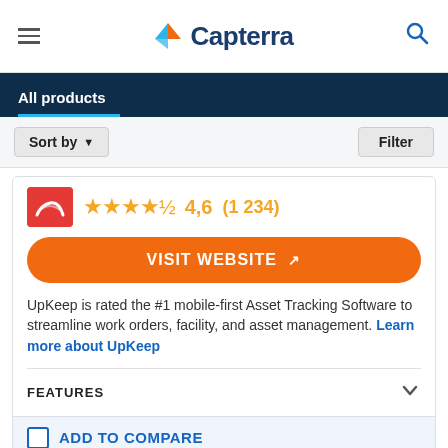Capterra
All products
Sort by   Filter
[Figure (logo): UpKeep product logo - red background with white icon]
★★★★½ 4,6 (1 234)
VISIT WEBSITE ↗
UpKeep is rated the #1 mobile-first Asset Tracking Software to streamline work orders, facility, and asset management. Learn more about UpKeep
FEATURES
ADD TO COMPARE